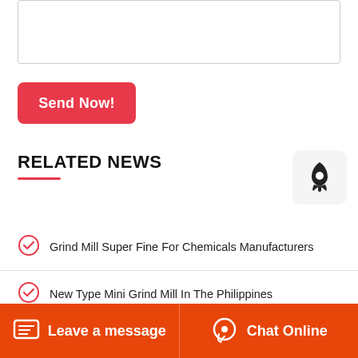[Figure (other): Text input textarea box (empty, with border)]
[Figure (other): Send Now! red button]
RELATED NEWS
Grind Mill Super Fine For Chemicals Manufacturers
New Type Mini Grind Mill In The Philippines
What Is The Cost Of One Duss Germany Grind Mill
Leave a message   Chat Online